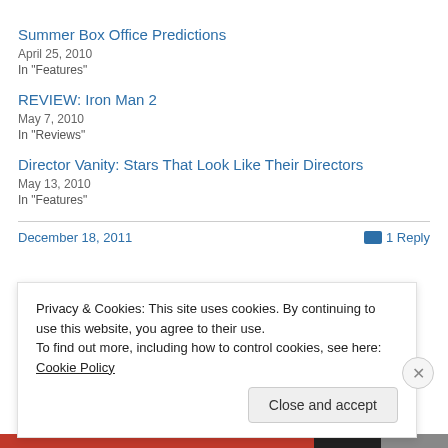Summer Box Office Predictions
April 25, 2010
In "Features"
REVIEW: Iron Man 2
May 7, 2010
In "Reviews"
Director Vanity: Stars That Look Like Their Directors
May 13, 2010
In "Features"
December 18, 2011
1 Reply
Privacy & Cookies: This site uses cookies. By continuing to use this website, you agree to their use.
To find out more, including how to control cookies, see here: Cookie Policy
Close and accept